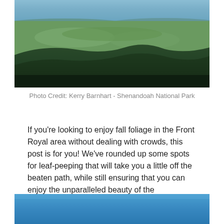[Figure (photo): Aerial landscape photo of Shenandoah National Park showing green valley fields, forested mountain ridges, and hazy blue sky in the background.]
Photo Credit: Kerry Barnhart - Shenandoah National Park
If you’re looking to enjoy fall foliage in the Front Royal area without dealing with crowds, this post is for you! We’ve rounded up some spots for leaf-peeping that will take you a little off the beaten path, while still ensuring that you can enjoy the unparalleled beauty of the Shenandoah Valley in fall.
[Figure (photo): Bottom portion of a photo showing a bright blue sky, partially cropped.]